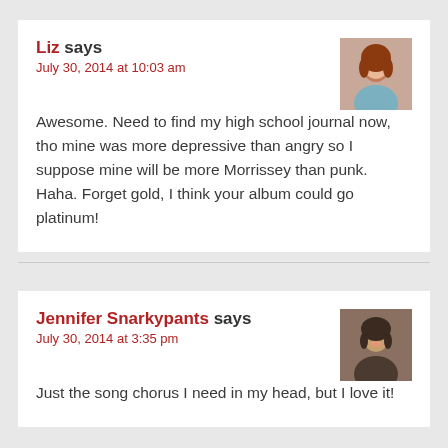Liz says
July 30, 2014 at 10:03 am
Awesome. Need to find my high school journal now, tho mine was more depressive than angry so I suppose mine will be more Morrissey than punk. Haha. Forget gold, I think your album could go platinum!
Jennifer Snarkypants says
July 30, 2014 at 3:35 pm
Just the song chorus I need in my head, but I love it!